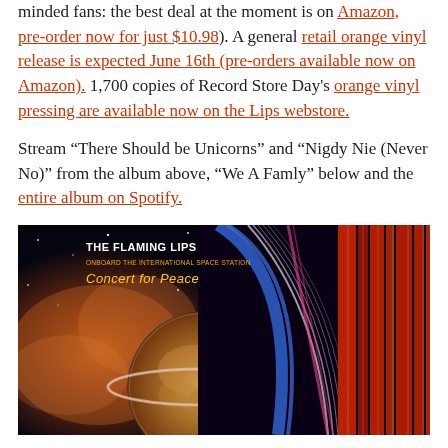minded fans: the best deal at the moment is on Amazon, pre-order now for just $10.98). A general retail orange vinyl release is expected June 16th (pre-orders available now on Amazon). 1,700 copies of Record Store Day's orange vinyl pressing are available now on the Lips webstore.
Stream “There Should be Unicorns” and “Nigdy Nie (Never No)” from the album above, “We A Famly” below and the entire album on Spotify.
[Figure (photo): Album cover art for The Flaming Lips 'Concert for Peace' - psychedelic colorful artwork with the band name text overlay on a cosmic/space background with vibrant orange and blue streaks]